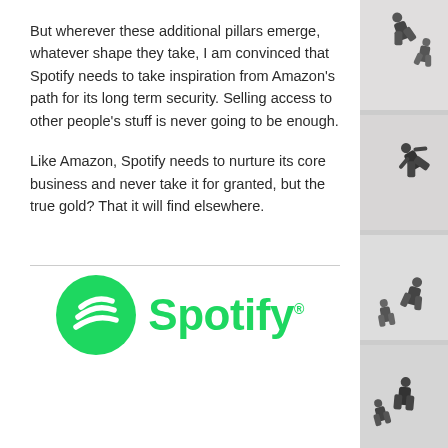But wherever these additional pillars emerge, whatever shape they take, I am convinced that Spotify needs to take inspiration from Amazon's path for its long term security. Selling access to other people's stuff is never going to be enough.
Like Amazon, Spotify needs to nurture its core business and never take it for granted, but the true gold? That it will find elsewhere.
[Figure (logo): Spotify logo — green circle with three white curved lines (sound waves) followed by the word 'Spotify' in green bold text with a registered trademark symbol.]
[Figure (photo): Aerial/overhead photographs of people walking, shown as decorative column on the right side of the page.]